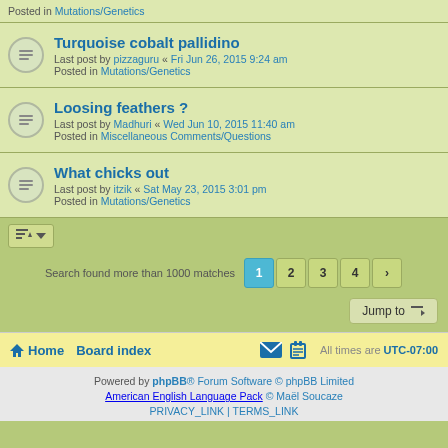Posted in Mutations/Genetics
Turquoise cobalt pallidino — Last post by pizzaguru « Fri Jun 26, 2015 9:24 am — Posted in Mutations/Genetics
Loosing feathers ? — Last post by Madhuri « Wed Jun 10, 2015 11:40 am — Posted in Miscellaneous Comments/Questions
What chicks out — Last post by itzik « Sat May 23, 2015 3:01 pm — Posted in Mutations/Genetics
Search found more than 1000 matches  1 2 3 4 >
Jump to
Home  Board index  All times are UTC-07:00
Powered by phpBB® Forum Software © phpBB Limited
American English Language Pack © Maël Soucaze
PRIVACY_LINK | TERMS_LINK